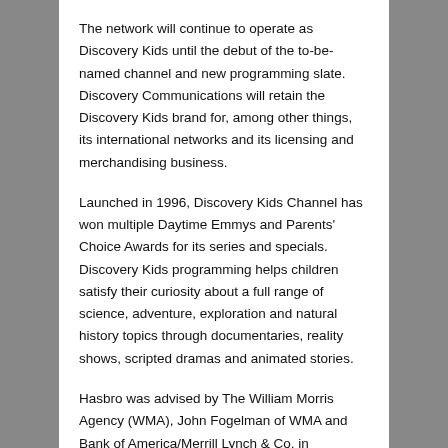The network will continue to operate as Discovery Kids until the debut of the to-be-named channel and new programming slate. Discovery Communications will retain the Discovery Kids brand for, among other things, its international networks and its licensing and merchandising business.
Launched in 1996, Discovery Kids Channel has won multiple Daytime Emmys and Parents' Choice Awards for its series and specials. Discovery Kids programming helps children satisfy their curiosity about a full range of science, adventure, exploration and natural history topics through documentaries, reality shows, scripted dramas and animated stories.
Hasbro was advised by The William Morris Agency (WMA), John Fogelman of WMA and Bank of America/Merrill Lynch & Co. in connection with this transaction.